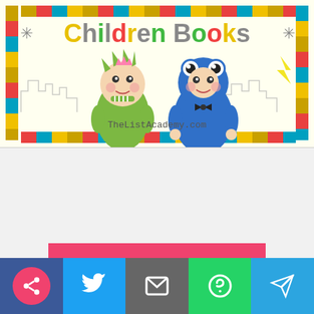[Figure (illustration): Children books logo/banner with two cartoon children dressed in animal costumes (green dinosaur and blue frog/monster) on a cream background with colorful striped border. Text reads 'Children Books' and 'TheListAcademy.com']
Load Comments
[Figure (infographic): Social media sharing buttons bar: share (pink circle on dark blue), Twitter (light blue), Email (gray), WhatsApp (green), Telegram (light blue)]